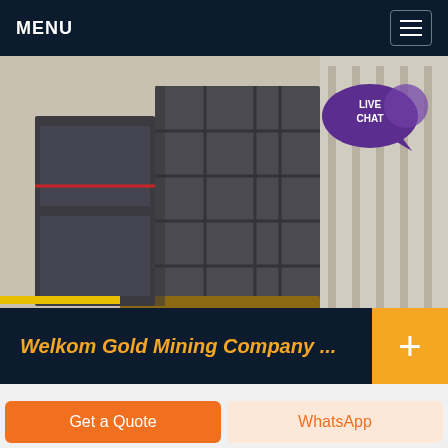MENU
[Figure (photo): Industrial mining processing plant equipment — large grey metal grid/screen structure on a factory floor]
Welkom Gold Mining Company ...
The Welkom Gold Mining Company Processing Plant is a processing plant. Initial production took place in 1951 and overall output was considered to be large size. Mine operations consist of underground workings. There is one
Get a Quote
WhatsApp